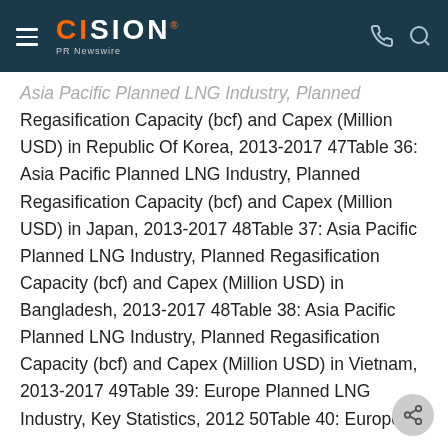CISION PR Newswire
Asia Pacific Planned LNG Industry, Planned Regasification Capacity (bcf) and Capex (Million USD) in Republic Of Korea, 2013-2017 47Table 36: Asia Pacific Planned LNG Industry, Planned Regasification Capacity (bcf) and Capex (Million USD) in Japan, 2013-2017 48Table 37: Asia Pacific Planned LNG Industry, Planned Regasification Capacity (bcf) and Capex (Million USD) in Bangladesh, 2013-2017 48Table 38: Asia Pacific Planned LNG Industry, Planned Regasification Capacity (bcf) and Capex (Million USD) in Vietnam, 2013-2017 49Table 39: Europe Planned LNG Industry, Key Statistics, 2012 50Table 40: Europe Planned LNG Industry, Liquefaction Capacity (mmty) by Country, 2013-201